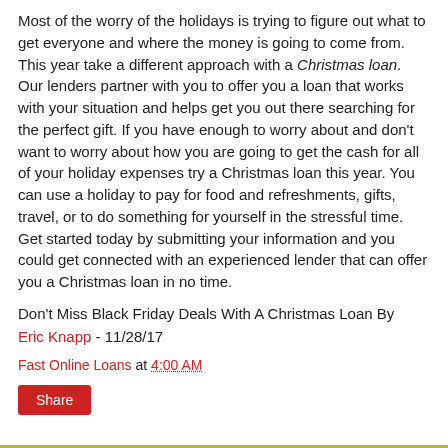Most of the worry of the holidays is trying to figure out what to get everyone and where the money is going to come from. This year take a different approach with a Christmas loan. Our lenders partner with you to offer you a loan that works with your situation and helps get you out there searching for the perfect gift. If you have enough to worry about and don't want to worry about how you are going to get the cash for all of your holiday expenses try a Christmas loan this year. You can use a holiday to pay for food and refreshments, gifts, travel, or to do something for yourself in the stressful time. Get started today by submitting your information and you could get connected with an experienced lender that can offer you a Christmas loan in no time.
Don't Miss Black Friday Deals With A Christmas Loan By Eric Knapp - 11/28/17
Fast Online Loans at 4:00 AM
Share